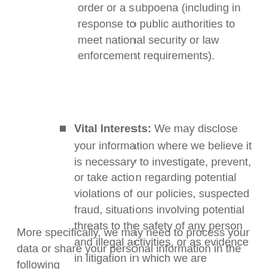order or a subpoena (including in response to public authorities to meet national security or law enforcement requirements).
Vital Interests: We may disclose your information where we believe it is necessary to investigate, prevent, or take action regarding potential violations of our policies, suspected fraud, situations involving potential threats to the safety of any person and illegal activities, or as evidence in litigation in which we are involved.
More specifically, we may need to process your data or share your personal information in the following